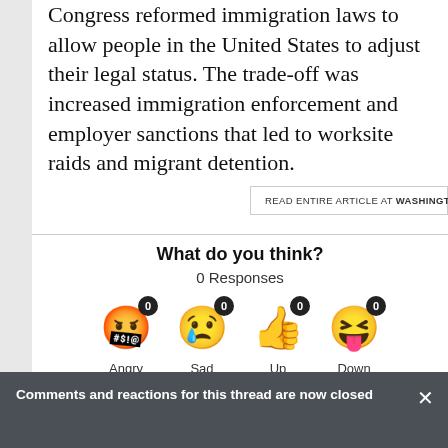Congress reformed immigration laws to allow people in the United States to adjust their legal status. The trade-off was increased immigration enforcement and employer sanctions that led to worksite raids and migrant detention.
READ ENTIRE ARTICLE AT WASHINGTON POST
What do you think?
0 Responses
[Figure (infographic): Four emoji reaction buttons: Angry (0), Sad (0), Up/thumbsup (0), Down/laughing (0)]
Comments and reactions for this thread are now closed